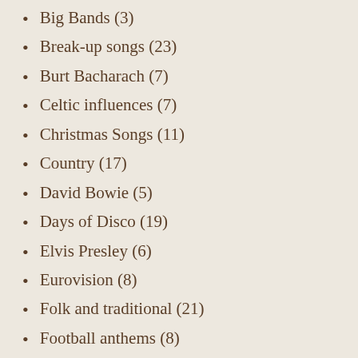Big Bands (3)
Break-up songs (23)
Burt Bacharach (7)
Celtic influences (7)
Christmas Songs (11)
Country (17)
David Bowie (5)
Days of Disco (19)
Elvis Presley (6)
Eurovision (8)
Folk and traditional (21)
Football anthems (8)
Full Moon Calendar in Song (24)
George Michael (15)
Glam Rock (3)
Jazz (7)
Live Aid (2)